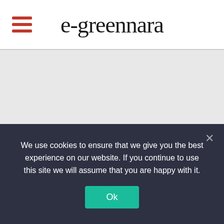e-greennara
[Figure (other): Gray placeholder content area below header]
We use cookies to ensure that we give you the best experience on our website. If you continue to use this site we will assume that you are happy with it.
Ok